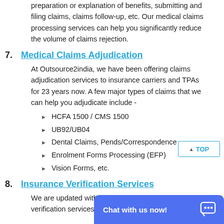preparation or explanation of benefits, submitting and filing claims, claims follow-up, etc. Our medical claims processing services can help you significantly reduce the volume of claims rejection.
7. Medical Claims Adjudication
At Outsource2india, we have been offering claims adjudication services to insurance carriers and TPAs for 23 years now. A few major types of claims that we can help you adjudicate include -
HCFA 1500 / CMS 1500
UB92/UB04
Dental Claims, Pends/Correspondence
Enrolment Forms Processing (EFP)
Vision Forms, etc.
8. Insurance Verification Services
We are updated with changes in health plans verification services.